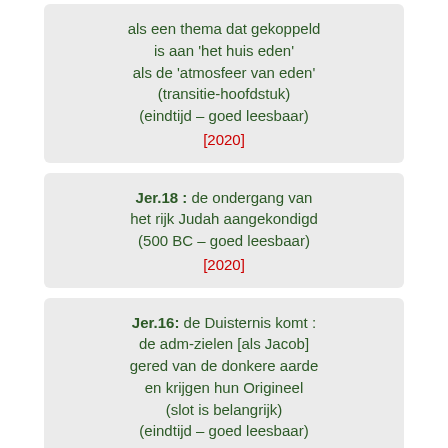als een thema dat gekoppeld is aan 'het huis eden' als de 'atmosfeer van eden' (transitie-hoofdstuk) (eindtijd – goed leesbaar) [2020]
Jer.18 : de ondergang van het rijk Judah aangekondigd (500 BC – goed leesbaar) [2020]
Jer.16: de Duisternis komt : de adm-zielen [als Jacob] gered van de donkere aarde en krijgen hun Origineel (slot is belangrijk) (eindtijd – goed leesbaar) [2020]